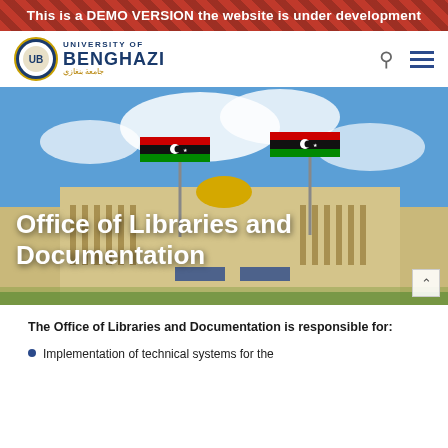This is a DEMO VERSION the website is under development
[Figure (logo): University of Benghazi logo with emblem]
[Figure (photo): University building with Libyan flags flying against a blue sky. Hero banner for Office of Libraries and Documentation.]
Office of Libraries and Documentation
The Office of Libraries and Documentation is responsible for:
Implementation of technical systems for the